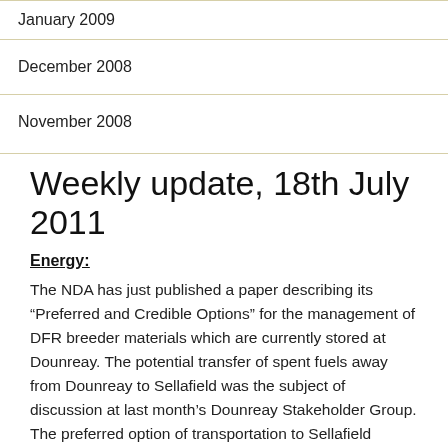January 2009
December 2008
November 2008
Weekly update, 18th July 2011
Energy:
The NDA has just published a paper describing its “Preferred and Credible Options” for the management of DFR breeder materials which are currently stored at Dounreay. The potential transfer of spent fuels away from Dounreay to Sellafield was the subject of discussion at last month’s Dounreay Stakeholder Group. The preferred option of transportation to Sellafield